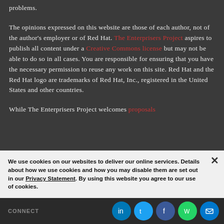problems.
The opinions expressed on this website are those of each author, not of the author's employer or of Red Hat. The Enterprisers Project aspires to publish all content under a Creative Commons license but may not be able to do so in all cases. You are responsible for ensuring that you have the necessary permission to reuse any work on this site. Red Hat and the Red Hat logo are trademarks of Red Hat, Inc., registered in the United States and other countries.
While The Enterprisers Project welcomes proposals from community members, it does not accept solicitations for advertising on the site or in any of its newsletters.
We use cookies on our websites to deliver our online services. Details about how we use cookies and how you may disable them are set out in our Privacy Statement. By using this website you agree to our use of cookies.
CONNECT